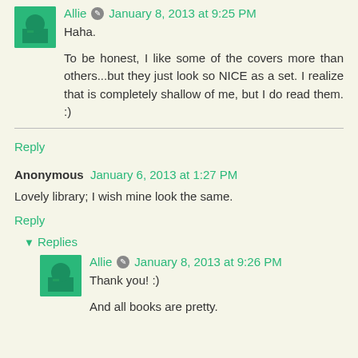[Figure (photo): Avatar thumbnail of user Allie - green colored profile picture]
Allie ✏ January 8, 2013 at 9:25 PM
Haha.
To be honest, I like some of the covers more than others...but they just look so NICE as a set. I realize that is completely shallow of me, but I do read them. :)
Reply
Anonymous January 6, 2013 at 1:27 PM
Lovely library; I wish mine look the same.
Reply
▼ Replies
[Figure (photo): Avatar thumbnail of user Allie - green colored profile picture]
Allie ✏ January 8, 2013 at 9:26 PM
Thank you! :)
And all books are pretty.